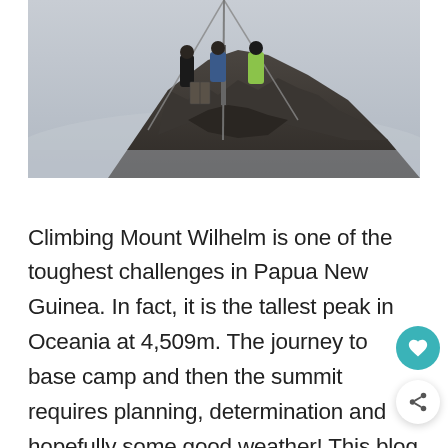[Figure (photo): Three climbers standing on a rocky mountain summit surrounded by fog and cables/poles. One person wears a bright yellow-green jacket.]
Climbing Mount Wilhelm is one of the toughest challenges in Papua New Guinea. In fact, it is the tallest peak in Oceania at 4,509m. The journey to base camp and then the summit requires planning, determination and hopefully some good weather! This blog post w.